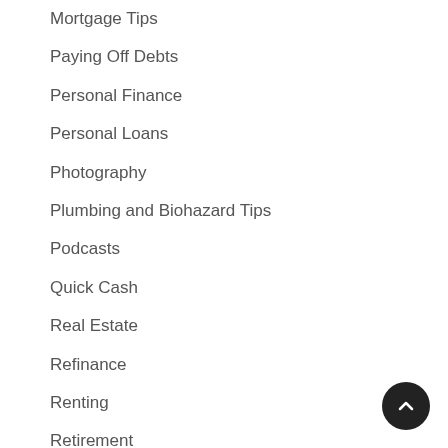Mortgage Tips
Paying Off Debts
Personal Finance
Personal Loans
Photography
Plumbing and Biohazard Tips
Podcasts
Quick Cash
Real Estate
Refinance
Renting
Retirement
Saving Energy
Savings Account
SEO and Internet Marketing
Side Gigs
Small Business
Spending Money Wisely